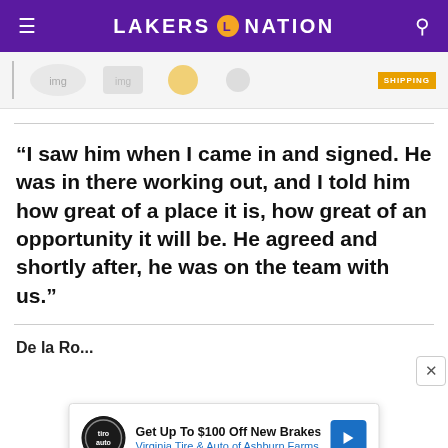LAKERS NATION
[Figure (screenshot): Advertisement banner with product images and SHIPPING label]
“I saw him when I came in and signed. He was in there working out, and I told him how great of a place it is, how great of an opportunity it will be. He agreed and shortly after, he was on the team with us.”
[Figure (screenshot): Advertisement overlay: Get Up To $100 Off New Brakes - Virginia Tire & Auto of Ashburn Farms, with Tiro Auto logo and blue arrow icon]